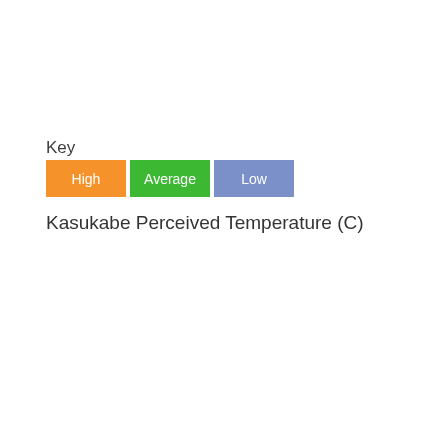Key
[Figure (infographic): Legend with three colored boxes labeled High (orange), Average (green), Low (blue-purple)]
Kasukabe Perceived Temperature (C)